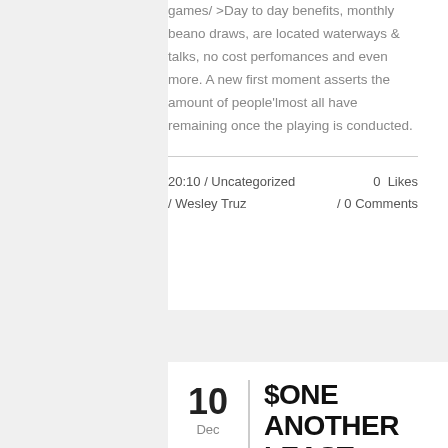games/ >Day to day benefits, monthly beano draws, are located waterways & talks, no cost perfomances and even more. A new first moment asserts the amount of people'lmost all have remaining once the playing is conducted.
20:10 / Uncategorized / Wesley Truz   0 Likes / 0 Comments
10 Dec
$ONE ANOTHER LEAST MONEY